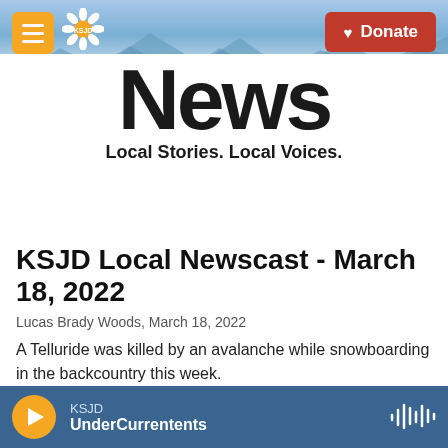[Figure (screenshot): KSJD News website header with mountain background, orange hamburger menu button, KSJD sunflower logo, and red Donate button]
News
Local Stories. Local Voices.
KSJD Local Newscast - March 18, 2022
Lucas Brady Woods,  March 18, 2022
A Telluride was killed by an avalanche while snowboarding in the backcountry this week.
KSJD UnderCurrents